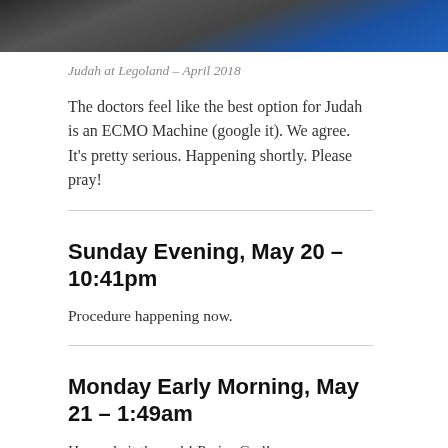[Figure (photo): Top portion of a photo showing a child at Legoland, with dark and blue tones visible]
Judah at Legoland – April 2018
The doctors feel like the best option for Judah is an ECMO Machine (google it). We agree. It's pretty serious. Happening shortly. Please pray!
Sunday Evening, May 20 – 10:41pm
Procedure happening now.
Monday Early Morning, May 21 – 1:49am
He made it through! Praise God!